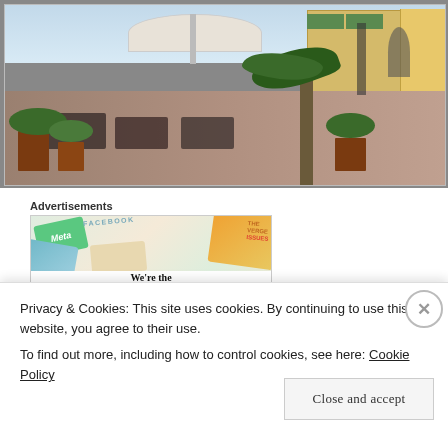[Figure (photo): Outdoor restaurant terrace with tables, chairs, umbrellas, potted plants and palm trees. Buildings visible in background including a yellow building. Cars parked on the street.]
Advertisements
[Figure (screenshot): Advertisement banner for WordPress CMS showing various social media and tech brand cards (Meta, Facebook) with text 'We're the WordPress CMS for You...']
Privacy & Cookies: This site uses cookies. By continuing to use this website, you agree to their use.
To find out more, including how to control cookies, see here: Cookie Policy
Close and accept